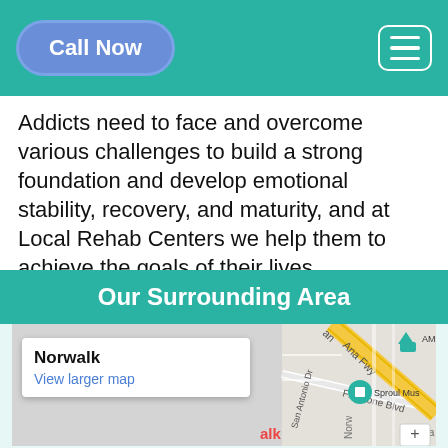Call Now
Addicts need to face and overcome various challenges to build a strong foundation and develop emotional stability, recovery, and maturity, and at Local Rehab Centers we help them to achieve the goals of their lives.
Our Surrounding Area
[Figure (map): Google Maps screenshot showing Norwalk area with Santa Ana Freeway, Firestone Blvd, San Antonio Dr, AMC Norwalk, Sproul Museum markers visible. Map popup shows 'Norwalk' with 'View larger map' link.]